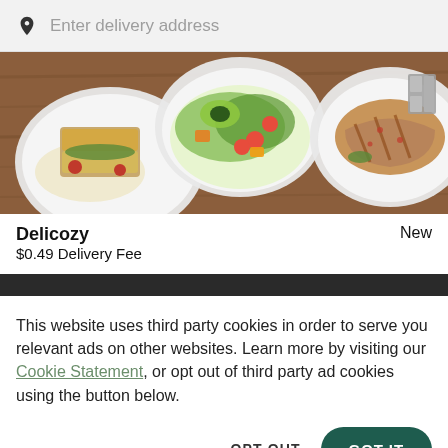Enter delivery address
[Figure (photo): Top-down view of food dishes on a wooden table: a sandwich with rice on a white plate, a colorful salad with tomatoes and avocado in a white bowl, and grilled meat/fish on a white plate]
Delicozy
New
$0.49 Delivery Fee
[Figure (photo): Dark strip showing partially visible second restaurant image]
This website uses third party cookies in order to serve you relevant ads on other websites. Learn more by visiting our Cookie Statement, or opt out of third party ad cookies using the button below.
OPT OUT
GOT IT